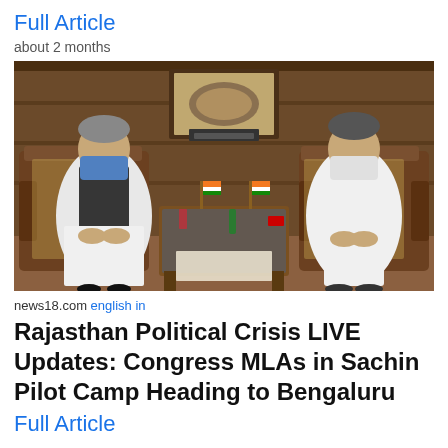Full Article
about 2 months
[Figure (photo): Two men wearing face masks seated in ornate wooden chairs with a glass-top table between them. Indian flags on the table. Wooden paneled background with a framed plaque.]
news18.com english in
Rajasthan Political Crisis LIVE Updates: Congress MLAs in Sachin Pilot Camp Heading to Bengaluru
Full Article